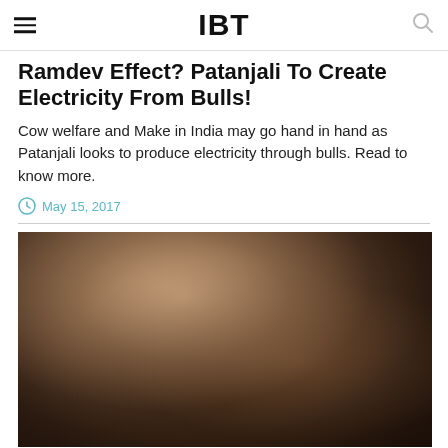IBT
Ramdev Effect? Patanjali To Create Electricity From Bulls!
Cow welfare and Make in India may go hand in hand as Patanjali looks to produce electricity through bulls. Read to know more.
May 15, 2017
[Figure (photo): Dark blurred photograph, possibly of bulls or cattle in low light, with warm brown tones and a glowing center highlight]